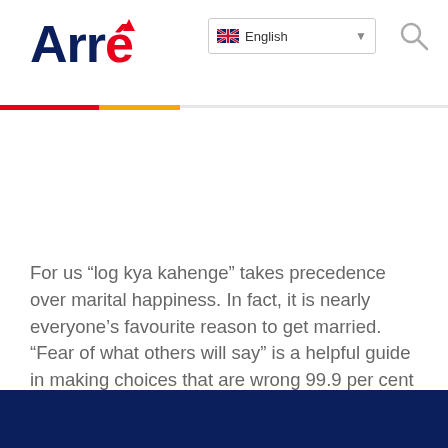Arré — English language selector, search icon
For us “log kya kahenge” takes precedence over marital happiness. In fact, it is nearly everyone’s favourite reason to get married. “Fear of what others will say” is a helpful guide in making choices that are wrong 99.9 per cent of the times